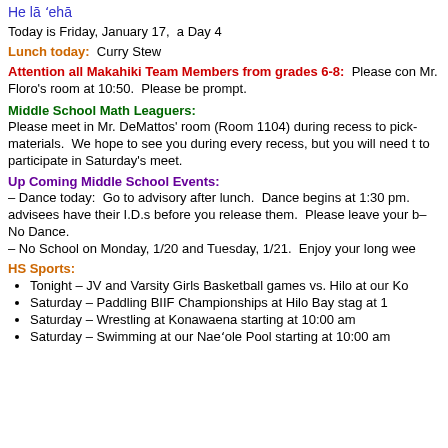He lā 'ehā
Today is Friday, January 17,  a Day 4
Lunch today:  Curry Stew
Attention all Makahiki Team Members from grades 6-8:  Please come to Mr. Floro's room at 10:50.  Please be prompt.
Middle School Math Leaguers:
Please meet in Mr. DeMattos' room (Room 1104) during recess to pick-up materials.  We hope to see you during every recess, but you will need t... to participate in Saturday's meet.
Up Coming Middle School Events:
– Dance today:  Go to advisory after lunch.  Dance begins at 1:30 pm. advisees have their I.D.s before you release them.  Please leave your b– No Dance.
– No School on Monday, 1/20 and Tuesday, 1/21.  Enjoy your long wee
HS Sports:
Tonight – JV and Varsity Girls Basketball games vs. Hilo at our Ko
Saturday – Paddling BIIF Championships at Hilo Bay sta... g at 1
Saturday – Wrestling at Konawaena starting at 10:00 am
Saturday – Swimming at our Nae'ole Pool starting at 10:00 am